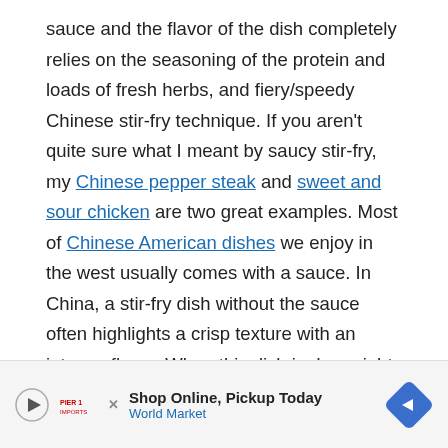sauce and the flavor of the dish completely relies on the seasoning of the protein and loads of fresh herbs, and fiery/speedy Chinese stir-fry technique. If you aren't quite sure what I meant by saucy stir-fry, my Chinese pepper steak and sweet and sour chicken are two great examples. Most of Chinese American dishes we enjoy in the west usually comes with a sauce. In China, a stir-fry dish without the sauce often highlights a crisp texture with an intense flavor. When this dish is done right, it's super addictive.

I highly recommend that you read the blog post on how t[...]is
[Figure (other): Advertisement banner: Shop Online, Pickup Today - World Market, with play button icon, World Market logo, and blue diamond navigation arrow]